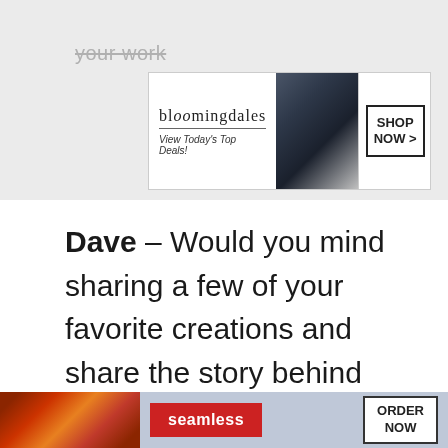your work
[Figure (screenshot): Bloomingdales banner advertisement with logo, 'View Today's Top Deals!' tagline, fashion model with wide-brim hat, and 'SHOP NOW >' button]
Dave – Would you mind sharing a few of your favorite creations and share the story behind them?
Sandra – Oh how, how does one...
[Figure (screenshot): Close button overlay (dark gray, 'CLOSE' text) and Seamless food delivery banner ad with pizza image, red Seamless button, and 'ORDER NOW' button]